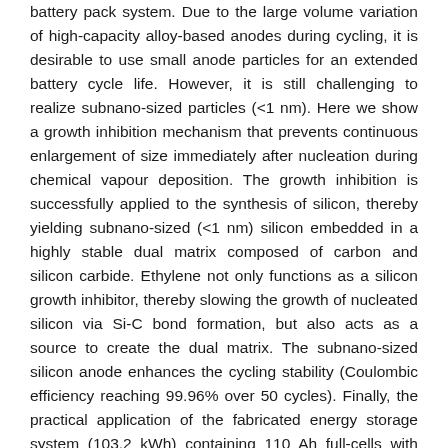battery pack system. Due to the large volume variation of high-capacity alloy-based anodes during cycling, it is desirable to use small anode particles for an extended battery cycle life. However, it is still challenging to realize subnano-sized particles (<1 nm). Here we show a growth inhibition mechanism that prevents continuous enlargement of size immediately after nucleation during chemical vapour deposition. The growth inhibition is successfully applied to the synthesis of silicon, thereby yielding subnano-sized (<1 nm) silicon embedded in a highly stable dual matrix composed of carbon and silicon carbide. Ethylene not only functions as a silicon growth inhibitor, thereby slowing the growth of nucleated silicon via Si-C bond formation, but also acts as a source to create the dual matrix. The subnano-sized silicon anode enhances the cycling stability (Coulombic efficiency reaching 99.96% over 50 cycles). Finally, the practical application of the fabricated energy storage system (103.2 kWh) containing 110 Ah full-cells with 91% capacity retention for 2,875 cycles and a calendar life of 97.6% for 1 year is demonstrated.